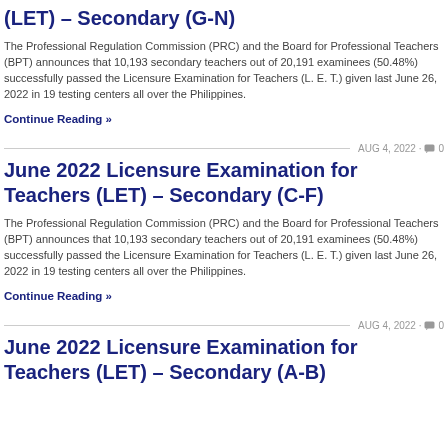(LET) – Secondary (G-N)
The Professional Regulation Commission (PRC) and the Board for Professional Teachers (BPT) announces that 10,193 secondary teachers out of 20,191 examinees (50.48%) successfully passed the Licensure Examination for Teachers (L. E. T.) given last June 26, 2022 in 19 testing centers all over the Philippines.
Continue Reading »
AUG 4, 2022 · 0
June 2022 Licensure Examination for Teachers (LET) – Secondary (C-F)
The Professional Regulation Commission (PRC) and the Board for Professional Teachers (BPT) announces that 10,193 secondary teachers out of 20,191 examinees (50.48%) successfully passed the Licensure Examination for Teachers (L. E. T.) given last June 26, 2022 in 19 testing centers all over the Philippines.
Continue Reading »
AUG 4, 2022 · 0
June 2022 Licensure Examination for Teachers (LET) – Secondary (A-B)